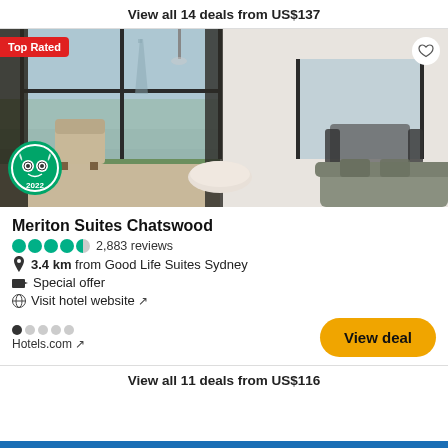View all 14 deals from US$137
[Figure (photo): Hotel room interior photo showing a modern apartment with floor-to-ceiling windows overlooking a city skyline, with a sitting area, dining table, and sofa. Has 'Top Rated' badge in red top-left and TripAdvisor 2022 badge bottom-left.]
Meriton Suites Chatswood
2,883 reviews
3.4 km from Good Life Suites Sydney
Special offer
Visit hotel website ↗
Hotels.com ↗
View deal
View all 11 deals from US$116